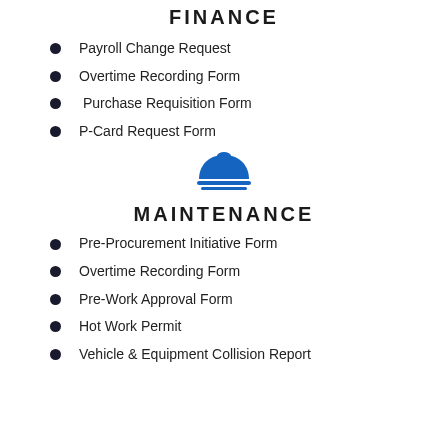FINANCE
Payroll Change Request
Overtime Recording Form
Purchase Requisition Form
P-Card Request Form
[Figure (illustration): Blue hard hat / construction helmet icon with a horizontal line beneath it]
MAINTENANCE
Pre-Procurement Initiative Form
Overtime Recording Form
Pre-Work Approval Form
Hot Work Permit
Vehicle & Equipment Collision Report